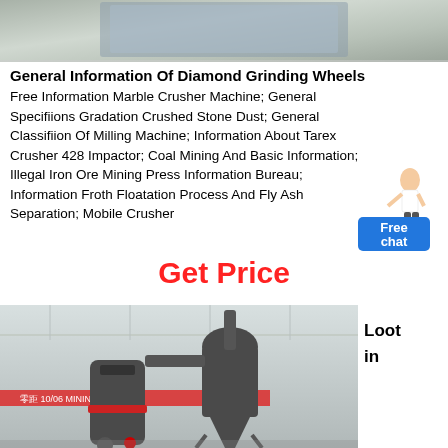[Figure (photo): Top partial image of industrial machinery or equipment, appears to be a grinding/milling machine, partially visible at top of page]
General Information Of Diamond Grinding Wheels
Free Information Marble Crusher Machine; General Specifiions Gradation Crushed Stone Dust; General Classifiion Of Milling Machine; Information About Tarex Crusher 428 Impactor; Coal Mining And Basic Information; Illegal Iron Ore Mining Press Information Bureau; Information Froth Floatation Process And Fly Ash Separation; Mobile Crusher
[Figure (illustration): Chat widget - blue button with a female figure, labeled Free chat]
Get Price
[Figure (photo): Industrial milling/grinding machine in a large warehouse/exhibition hall, dark grey machinery with cyclone separator, red banner visible]
Loot
in